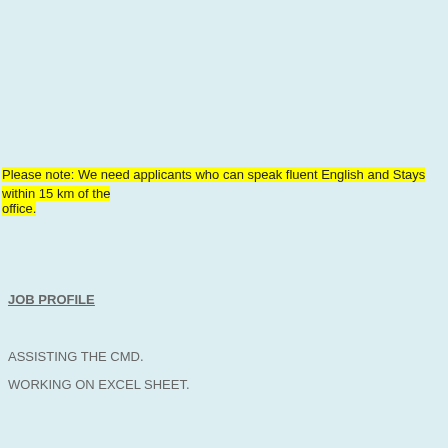Please note: We need applicants who can speak fluent English and Stays within 15 km of the office.
JOB PROFILE
ASSISTING THE CMD.
WORKING ON EXCEL SHEET.